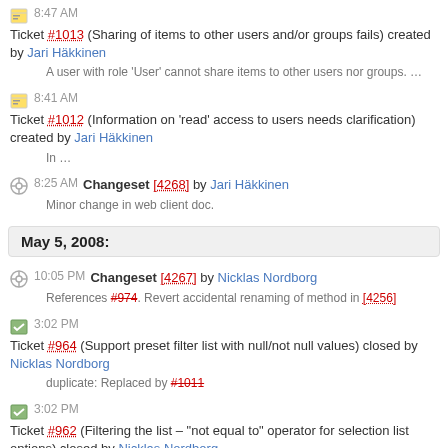8:47 AM Ticket #1013 (Sharing of items to other users and/or groups fails) created by Jari Häkkinen
A user with role 'User' cannot share items to other users nor groups. …
8:41 AM Ticket #1012 (Information on 'read' access to users needs clarification) created by Jari Häkkinen
In …
8:25 AM Changeset [4268] by Jari Häkkinen
Minor change in web client doc.
May 5, 2008:
10:05 PM Changeset [4267] by Nicklas Nordborg
References #974. Revert accidental renaming of method in [4256]
3:02 PM Ticket #964 (Support preset filter list with null/not null values) closed by Nicklas Nordborg
duplicate: Replaced by #1011
3:02 PM Ticket #962 (Filtering the list – "not equal to" operator for selection list options) closed by Nicklas Nordborg
duplicate: Replaced by #1011
3:01 PM Ticket #1011 (Select multiple alternatives for a filter with a specified list of options) created by Nicklas Nordborg
This ticket replaces #962 and #964. A property of an item that can …
1:24 PM Changeset [4266] by Nicklas Nordborg